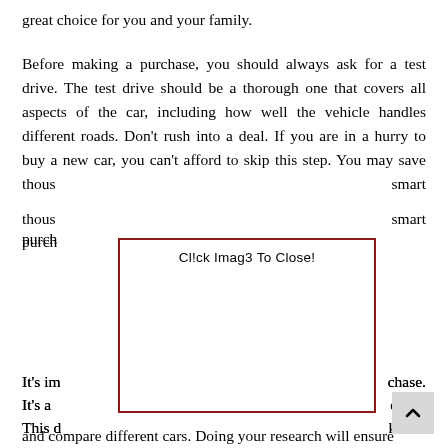great choice for you and your family.
Before making a purchase, you should always ask for a test drive. The test drive should be a thorough one that covers all aspects of the car, including how well the vehicle handles different roads. Don't rush into a deal. If you are in a hurry to buy a new car, you can't afford to skip this step. You may save thousands of dollars by making a smart purchase.
It's important to research the car before you make a purchase. It's a good idea to take the car for a test drive. This can help you make the decision that is right for a long time. It will also help you negotiate a better price for the car.
When you are looking for the best deal, you should research and compare different cars. Doing your research will ensure
[Figure (screenshot): Overlay box with text 'Cl!ck Imag3 To Close!' and a scroll-to-top button in the bottom right corner]